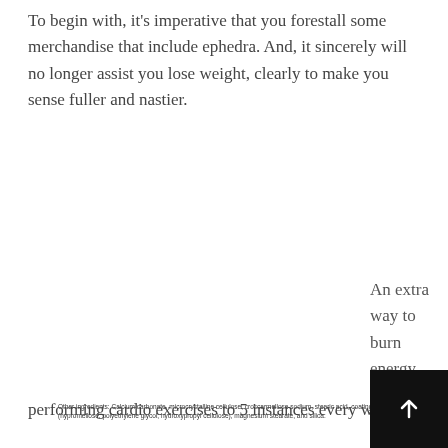To begin with, it's imperative that you forestall some merchandise that include ephedra. And, it sincerely will no longer assist you lose weight, clearly to make you sense fuller and nastier.
|  | Amount Per Serving | % Daily Value |
| --- | --- | --- |
| Niacin | 20 mg | 125% |
| Calcium | 100 mg | 8% |
| Camellira™ Proprietary Blend | 345 mg | ** |
| Green tea leaf extract (providing 135 mg EGCG) (decaffeinated), Grapefruit seed extract |  |  |
| Procolase™ Proprietary Blend | 145 mg | ** |
| 7-Keto® DHEA, Bromelain (1600 GDU/g) |  |  |
** Daily value not established.
Other ingredients: Calcium carbonate, microcrystalline cellulose, croscarmellose sodium, stearic acid, coating (hypromellose, polyethylene glycol, hydroxypropyl cellulose), magnesium stearate, and silica.
An extra way to burn energy rapidly is by means
performing cardio exercises to 5 instances every we